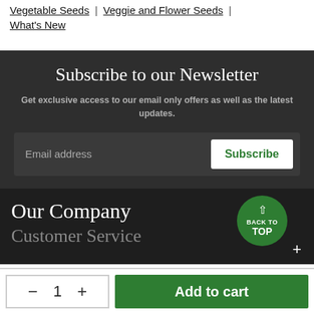Vegetable Seeds | Veggie and Flower Seeds | What's New
Subscribe to our Newsletter
Get exclusive access to our email only offers as well as the latest updates.
Email address | Subscribe
Our Company
Customer Service
BACK TO TOP
- 1 + | Add to cart